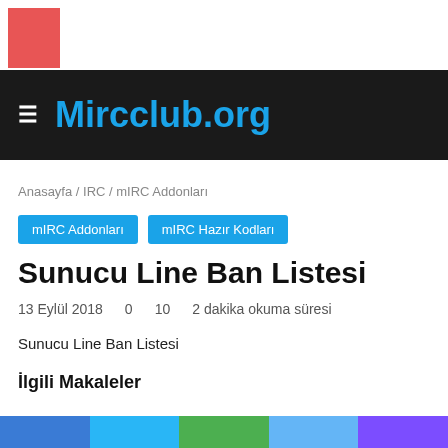[Figure (logo): Red square logo block in top left]
Mircclub.org
Anasayfa / IRC / mIRC Addonları
mIRC Addonları
mIRC Hazır Kodları
Sunucu Line Ban Listesi
13 Eylül 2018   0   10   2 dakika okuma süresi
Sunucu Line Ban Listesi
İlgili Makaleler
[Figure (illustration): Bottom decorative color bar with 5 colored segments: blue, sky blue, green, light blue, purple]